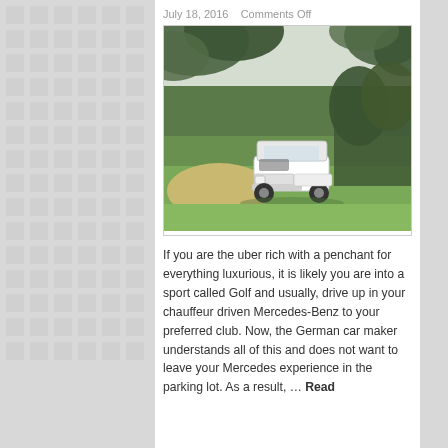July 18, 2016   Comments Off
[Figure (photo): A modern white electric golf cart parked on a green golf course fairway, surrounded by trees with sand bunkers visible in the background. The sky is overcast.]
If you are the uber rich with a penchant for everything luxurious, it is likely you are into a sport called Golf and usually, drive up in your chauffeur driven Mercedes-Benz to your preferred club. Now, the German car maker understands all of this and does not want to leave your Mercedes experience in the parking lot. As a result, … Read